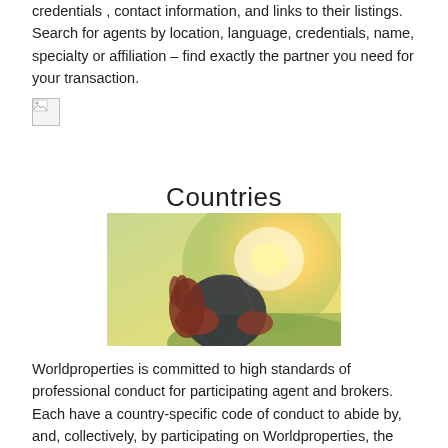credentials , contact information, and links to their listings. Search for agents by location, language, credentials, name, specialty or affiliation – find exactly the partner you need for your transaction.
[Figure (photo): Broken/unloaded image placeholder (small icon)]
Countries
[Figure (photo): Person holding a globe outdoors with sunlight in background]
Worldproperties is committed to high standards of professional conduct for participating agent and brokers. Each have a country-specific code of conduct to abide by, and, collectively, by participating on Worldproperties, the agencies and